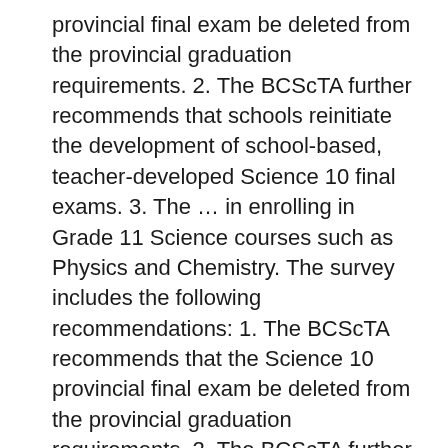provincial final exam be deleted from the provincial graduation requirements. 2. The BCScTA further recommends that schools reinitiate the development of school-based, teacher-developed Science 10 final exams. 3. The … in enrolling in Grade 11 Science courses such as Physics and Chemistry. The survey includes the following recommendations: 1. The BCScTA recommends that the Science 10 provincial final exam be deleted from the provincial graduation requirements. 2. The BCScTA further recommends that schools reinitiate the development of school-based, teacher-developed Science 10 final exams. 3. The …